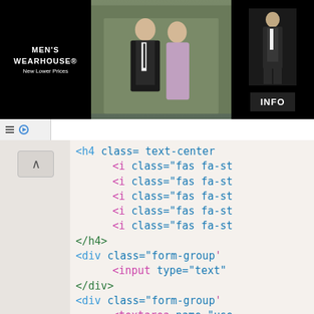[Figure (screenshot): Men's Wearhouse advertisement banner with couple in formal wear and suit figure on right with INFO button]
[Figure (screenshot): Browser page showing HTML source code with syntax highlighting on a light beige background, with sidebar navigation showing up arrow]
<h4 class= text-center
    <i class="fas fa-st
    <i class="fas fa-st
    <i class="fas fa-st
    <i class="fas fa-st
    <i class="fas fa-st
</h4>
<div class="form-group"
    <input type="text"
</div>
<div class="form-group"
    <textarea name="use
</div>
<div class="form-group
    <button type="butto
</div>